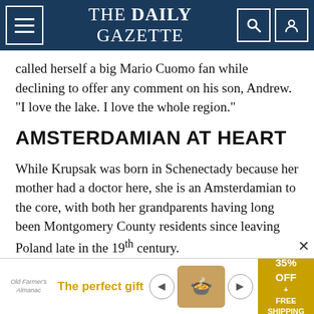THE DAILY GAZETTE
called herself a big Mario Cuomo fan while declining to offer any comment on his son, Andrew. “I love the lake. I love the whole region.”
AMSTERDAMIAN AT HEART
While Krupsak was born in Schenectady because her mother had a doctor here, she is an Amsterdamian to the core, with both her grandparents having long been Montgomery County residents since leaving Poland late in the 19th century.
And while her ties to Schenectady are strong, having represented much of the county and the
[Figure (advertisement): Ad banner: 'The perfect gift' with food image and '35% OFF + FREE SHIPPING' promo badge]